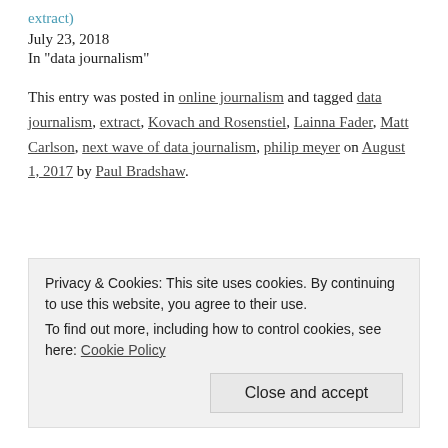extract)
July 23, 2018
In "data journalism"
This entry was posted in online journalism and tagged data journalism, extract, Kovach and Rosenstiel, Lainna Fader, Matt Carlson, next wave of data journalism, philip meyer on August 1, 2017 by Paul Bradshaw.
Privacy & Cookies: This site uses cookies. By continuing to use this website, you agree to their use.
To find out more, including how to control cookies, see here: Cookie Policy